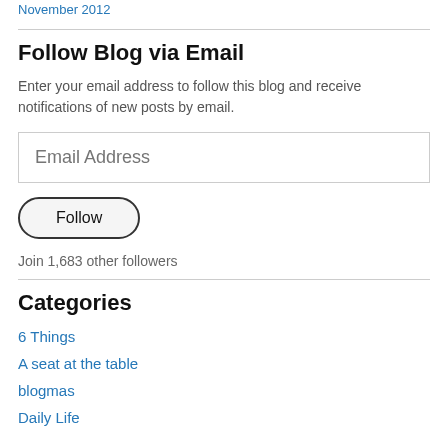November 2012
Follow Blog via Email
Enter your email address to follow this blog and receive notifications of new posts by email.
Email Address
Follow
Join 1,683 other followers
Categories
6 Things
A seat at the table
blogmas
Daily Life